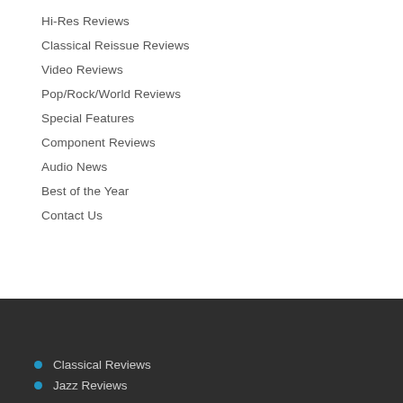Hi-Res Reviews
Classical Reissue Reviews
Video Reviews
Pop/Rock/World Reviews
Special Features
Component Reviews
Audio News
Best of the Year
Contact Us
Classical Reviews
Jazz Reviews